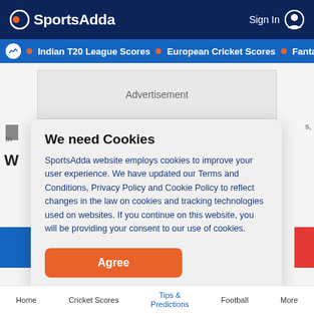SportsAdda  Sign In
• Indian T20 League Scores • European Cricket Scores • Fantasy C
[Figure (screenshot): Advertisement placeholder box]
We need Cookies
SportsAdda website employs cookies to improve your user experience. We have updated our Terms and Conditions, Privacy Policy and Cookie Policy to reflect changes in the law on cookies and tracking technologies used on websites. If you continue on this website, you will be providing your consent to our use of cookies.
Agree
Home  Cricket Scores  Tips & Predictions  Football  More